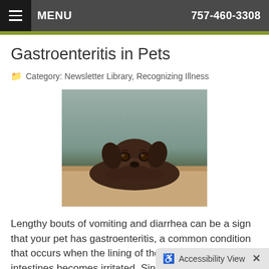MENU  757-460-3308
Gastroenteritis in Pets
Category: Newsletter Library, Recognizing Illness
[Figure (photo): A dark brown Labrador puppy lying with its chin on a surface, looking up with sad eyes against a muted background.]
Lengthy bouts of vomiting and diarrhea can be a sign that your pet has gastroenteritis, a common condition that occurs when the lining of the stomach and intestines becomes irritated. Since frequent diarrhea and vomiting can lead to dehydration, a visit to the veterinarian is a good idea if you notice
Read more